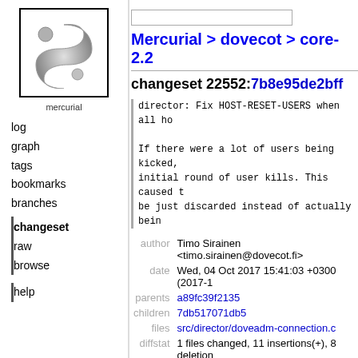[Figure (logo): Mercurial logo: stylized yin-yang style comma/S shape in grey with small circles, labeled 'mercurial' below]
log
graph
tags
bookmarks
branches
changeset (active)
raw
browse
help
Mercurial > dovecot > core-2.2
changeset 22552:7b8e95de2bff
director: Fix HOST-RESET-USERS when all ho
If there were a lot of users being kicked,
initial round of user kills. This caused t
be just discarded instead of actually bein
| field | value |
| --- | --- |
| author | Timo Sirainen <timo.sirainen@dovecot.fi> |
| date | Wed, 04 Oct 2017 15:41:03 +0300 (2017-1 |
| parents | a89fc39f2135 |
| children | 7db517071db5 |
| files | src/director/doveadm-connection.c |
| diffstat | 1 files changed, 11 insertions(+), 8 deletion
[+] |
line diff    line wrap: on
1.1  --- a/src/director/doveadm-connection.c    Wed Oct 04 15:39:08 2017 +0300
1.2  +++ b/src/director/doveadm-connection.c    Wed Oct 04